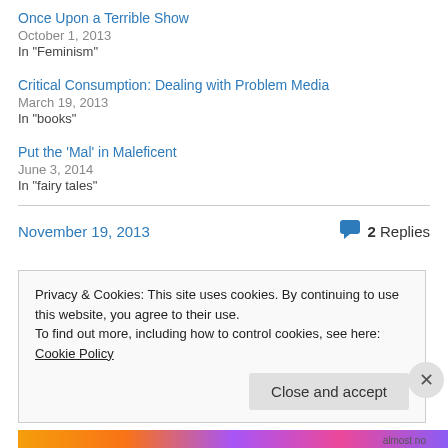Once Upon a Terrible Show
October 1, 2013
In "Feminism"
Critical Consumption: Dealing with Problem Media
March 19, 2013
In "books"
Put the ‘Mal’ in Maleficent
June 3, 2014
In "fairy tales"
November 19, 2013
2 Replies
Privacy & Cookies: This site uses cookies. By continuing to use this website, you agree to their use.
To find out more, including how to control cookies, see here: Cookie Policy
Close and accept